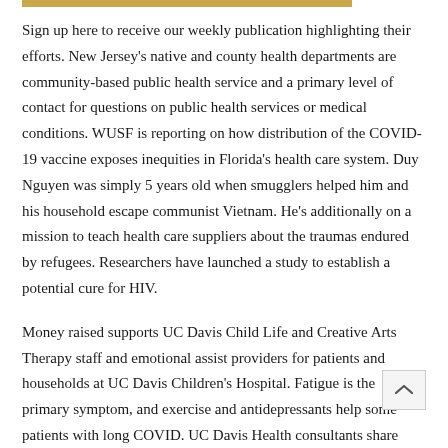[Figure (other): Gold/yellow horizontal bar at top of page]
Sign up here to receive our weekly publication highlighting their efforts. New Jersey's native and county health departments are community-based public health service and a primary level of contact for questions on public health services or medical conditions. WUSF is reporting on how distribution of the COVID-19 vaccine exposes inequities in Florida's health care system. Duy Nguyen was simply 5 years old when smugglers helped him and his household escape communist Vietnam. He's additionally on a mission to teach health care suppliers about the traumas endured by refugees. Researchers have launched a study to establish a potential cure for HIV.
Money raised supports UC Davis Child Life and Creative Arts Therapy staff and emotional assist providers for patients and households at UC Davis Children's Hospital. Fatigue is the primary symptom, and exercise and antidepressants help some patients with long COVID. UC Davis Health consultants share what they've learned about long …